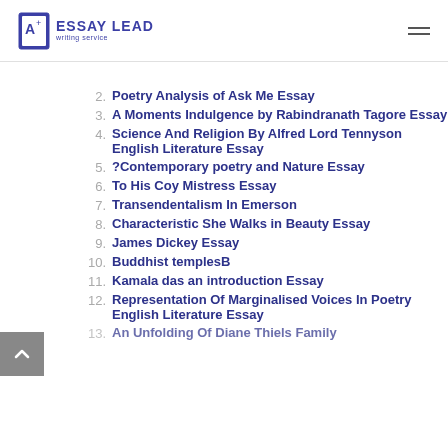ESSAY LEAD writing service
2. Poetry Analysis of Ask Me Essay
3. A Moments Indulgence by Rabindranath Tagore Essay
4. Science And Religion By Alfred Lord Tennyson English Literature Essay
5. ?Contemporary poetry and Nature Essay
6. To His Coy Mistress Essay
7. Transendentalism In Emerson
8. Characteristic She Walks in Beauty Essay
9. James Dickey Essay
10. Buddhist templesB
11. Kamala das an introduction Essay
12. Representation Of Marginalised Voices In Poetry English Literature Essay
13. An Unfolding Of Diane Thiels Family